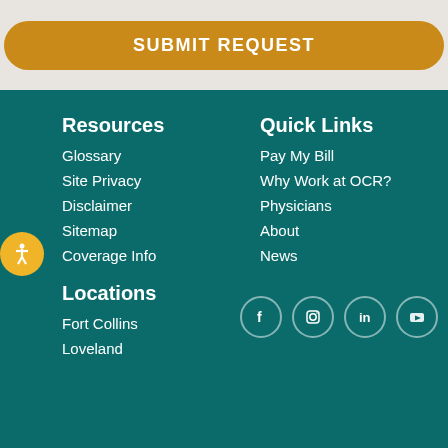[Figure (other): Golden/amber rounded button with white bold text reading SUBMIT REQUEST]
Resources
Glossary
Site Privacy
Disclaimer
Sitemap
Coverage Info
Quick Links
Pay My Bill
Why Work at OCR?
Physicians
About
News
Locations
Fort Collins
Loveland
[Figure (other): Social media icons: Facebook, Instagram, LinkedIn, YouTube — white icons in circular teal borders]